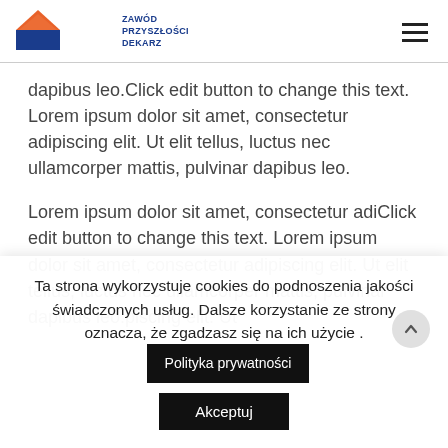ZAWÓD PRZYSZŁOŚCI DEKARZ
dapibus leo.Click edit button to change this text. Lorem ipsum dolor sit amet, consectetur adipiscing elit. Ut elit tellus, luctus nec ullamcorper mattis, pulvinar dapibus leo.
Lorem ipsum dolor sit amet, consectetur adiClick edit button to change this text. Lorem ipsum dolor sit amet, consectetur adipiscing elit. Ut elit tellus, luctus nec ullamcorper mattis, pulvinar dapibus leo.piscing elit. Ut
Ta strona wykorzystuje cookies do podnoszenia jakości świadczonych usług. Dalsze korzystanie ze strony oznacza, że zgadzasz się na ich użycie .
Polityka prywatności
Akceptuj